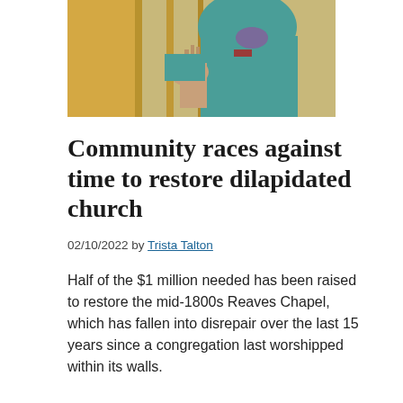[Figure (photo): Partial view of a person wearing a teal/green jacket outdoors, holding something near wooden structures]
Community races against time to restore dilapidated church
02/10/2022 by Trista Talton
Half of the $1 million needed has been raised to restore the mid-1800s Reaves Chapel, which has fallen into disrepair over the last 15 years since a congregation last worshipped within its walls.
Filed Under: Featured, Our Coast, Places   Tagged With: Black History Month, culture and history, Navassa, people